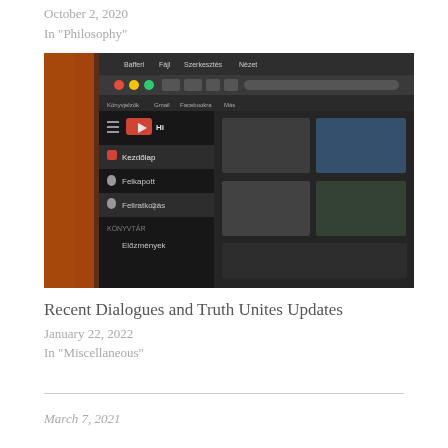October 2, 2020
In "Philosophy"
[Figure (screenshot): Screenshot of YouTube interface in dark mode showing sidebar with menu items: Kezdőlap, Felkapott, Feliratkozás, KÖNYVTÁR, Előzmények]
Recent Dialogues and Truth Unites Updates
January 22, 2022
In "Miscellaneous"
March 7, 2021